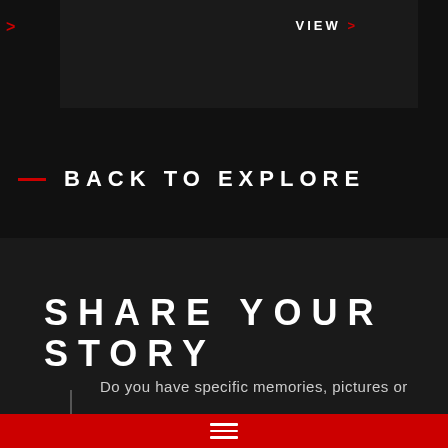VIEW >
BACK TO EXPLORE
SHARE YOUR STORY
Do you have specific memories, pictures or
≡